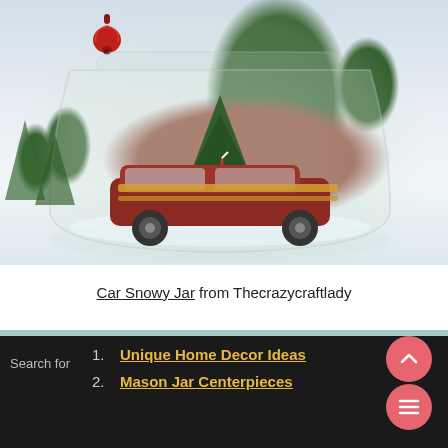[Figure (photo): A glass jar containing a miniature red station wagon with a Christmas tree on its roof and candy cane straps, set in a snowy winter scene. A red jingle bell hangs from a ribbon at the upper left. Blurred evergreen trees visible in the background.]
Car Snowy Jar from Thecrazycraftlady
[Figure (photo): Partial view of a second image below, showing a light teal/blue-gray background, likely another craft or decoration photo.]
1. Unique Home Decor Ideas
2. Mason Jar Centerpieces